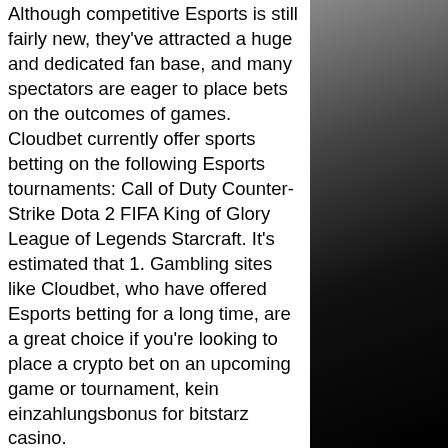Although competitive Esports is still fairly new, they've attracted a huge and dedicated fan base, and many spectators are eager to place bets on the outcomes of games. Cloudbet currently offer sports betting on the following Esports tournaments: Call of Duty Counter-Strike Dota 2 FIFA King of Glory League of Legends Starcraft. It's estimated that 1. Gambling sites like Cloudbet, who have offered Esports betting for a long time, are a great choice if you're looking to place a crypto bet on an upcoming game or tournament, kein einzahlungsbonus for bitstarz casino.
You don't need to be a mega crypto nerd (although if you are, we welcome you with open arms). Claim deposit bonuses with bitcoin. Bitstarz casino bonus code get (20 free spins) no deposit bonus: ; 150 free spins! 150 free spins =&gt;use code: wild-150 ; $77 free $77 free chips ; 20 free spins 20. You can wager on multiple bet spots,
[Figure (photo): Dark background area on the right side of the page, showing a dark grayscale blurred image]